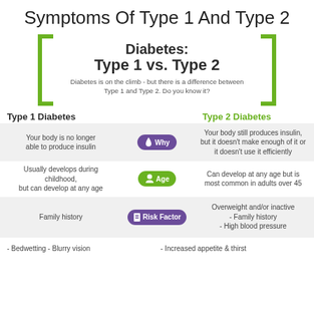Symptoms Of Type 1 And Type 2
[Figure (infographic): Infographic comparing Diabetes Type 1 vs Type 2 with bracket decoration, subtitle text, and three comparison rows for Why, Age, and Risk Factor categories, plus a bottom symptoms row.]